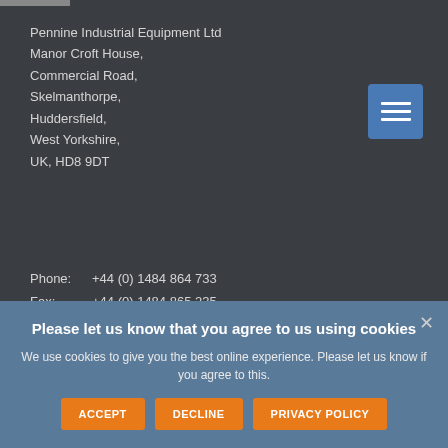Pennine Industrial Equipment Ltd
Manor Croft House,
Commercial Road,
Skelmanthorpe,
Huddersfield,
West Yorkshire,
UK, HD8 9DT
Phone:  +44 (0) 1484 864 733
Fax:    +44 (0) 1484 865 235
Email:  sales@pennine.org
LEGAL
Please let us know that you agree to us using cookies
We use cookies to give you the best online experience. Please let us know if you agree to this.
ACCEPT   DECLINE   PRIVACY POLICY